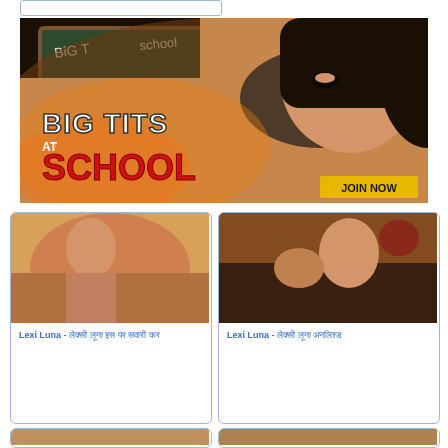[Figure (illustration): Top navigation bar placeholder, blue bordered rectangle]
[Figure (photo): Banner advertisement for 'Big Tits at School' website featuring a woman in a black bikini top in front of a chalkboard, with bold text 'BIG TITS at SCHOOL' and a yellow 'JOIN NOW' button]
[Figure (photo): Thumbnail of Lexi Luna adult content scene 1]
Lexi Luna - [Hindi text description 1]
[Figure (photo): Thumbnail of Lexi Luna adult content scene 2]
Lexi Luna - [Hindi text description 2]